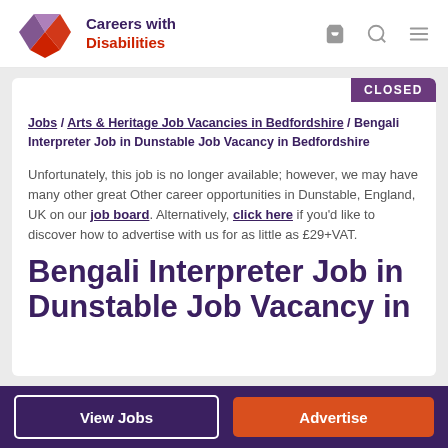Careers with Disabilities
[Figure (logo): Careers with Disabilities logo with geometric diamond shape in purple and red]
CLOSED
Jobs / Arts & Heritage Job Vacancies in Bedfordshire / Bengali Interpreter Job in Dunstable Job Vacancy in Bedfordshire
Unfortunately, this job is no longer available; however, we may have many other great Other career opportunities in Dunstable, England, UK on our job board. Alternatively, click here if you'd like to discover how to advertise with us for as little as £29+VAT.
Bengali Interpreter Job in Dunstable Job Vacancy in
View Jobs  Advertise